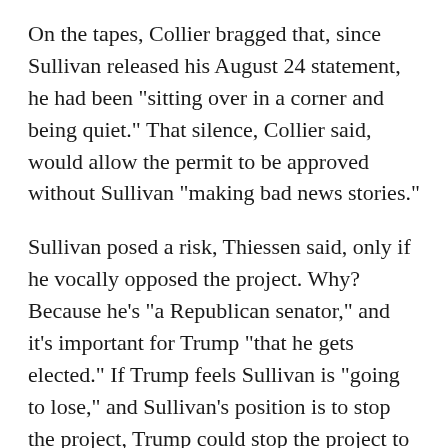On the tapes, Collier bragged that, since Sullivan released his August 24 statement, he had been "sitting over in a corner and being quiet." That silence, Collier said, would allow the permit to be approved without Sullivan "making bad news stories."
Sullivan posed a risk, Thiessen said, only if he vocally opposed the project. Why? Because he's "a Republican senator," and it's important for Trump "that he gets elected." If Trump feels Sullivan is "going to lose," and Sullivan's position is to stop the project, Trump could stop the project to help Sullivan.
Collier said he remained in communication with